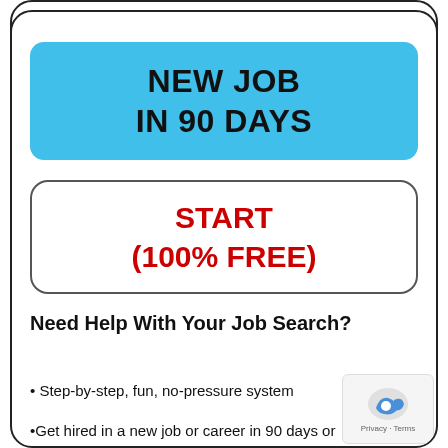NEW JOB IN 90 DAYS
START (100% FREE)
Need Help With Your Job Search?
Step-by-step, fun, no-pressure system
Get hired in a new job or career in 90 days or…